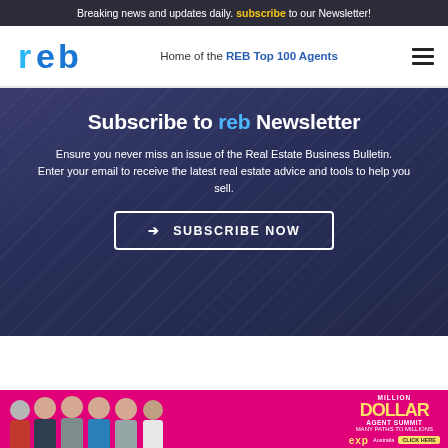Breaking news and updates daily. Subscribe to our Newsletter!
[Figure (logo): REB logo - blue stylized letters 'reb']
Home of the REB Top 100 Agents
Subscribe to reb Newsletter
Ensure you never miss an issue of the Real Estate Business Bulletin.
Enter your email to receive the latest real estate advice and tools to help you sell.
→ SUBSCRIBE NOW
[Figure (infographic): Million Dollar Agent Summit 22 - Many Paths to Millions - eXp Australia advertisement banner with people photos]